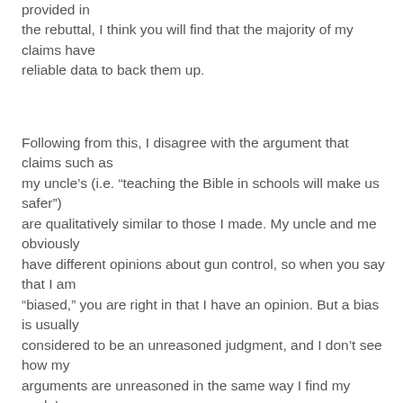provided in the rebuttal, I think you will find that the majority of my claims have reliable data to back them up.
Following from this, I disagree with the argument that claims such as my uncle's (i.e. “teaching the Bible in schools will make us safer”) are qualitatively similar to those I made. My uncle and me obviously have different opinions about gun control, so when you say that I am “biased,” you are right in that I have an opinion. But a bias is usually considered to be an unreasoned judgment, and I don't see how my arguments are unreasoned in the same way I find my uncle’s to be. Whil…